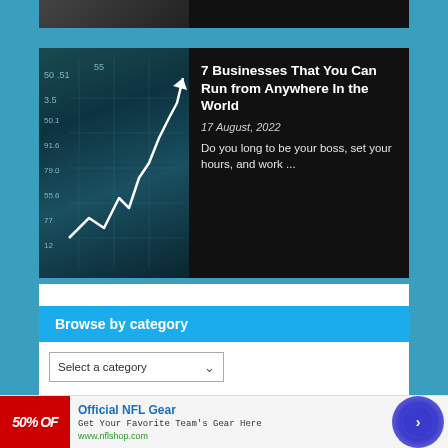[Figure (photo): Dark image strip at top, partially visible article thumbnail]
[Figure (photo): Article thumbnail: glowing white line chart overlaid on dark stock market numbers background]
7 Businesses That You Can Run from Anywhere In the World
17 August, 2022
Do you long to be your boss, set your hours, and work ...
Browse by category
Select a category
[Figure (other): Advertisement banner: Official NFL Gear - Get Your Favorite Team's Gear Here - www.nflshop.com, with red 50% OFF image and blue arrow circle button]